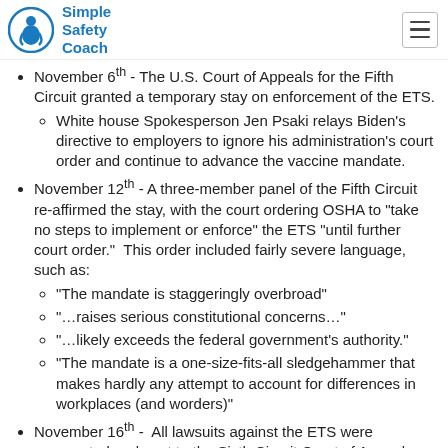Simple Safety Coach
November 6th - The U.S. Court of Appeals for the Fifth Circuit granted a temporary stay on enforcement of the ETS.
White house Spokesperson Jen Psaki relays Biden's directive to employers to ignore his administration's court order and continue to advance the vaccine mandate.
November 12th - A three-member panel of the Fifth Circuit re-affirmed the stay, with the court ordering OSHA to "take no steps to implement or enforce" the ETS "until further court order."  This order included fairly severe language, such as:
"The mandate is staggeringly overbroad"
"…raises serious constitutional concerns…"
"…likely exceeds the federal government's authority."
"The mandate is a one-size-fits-all sledgehammer that makes hardly any attempt to account for differences in workplaces (and worders)"
November 16th -  All lawsuits against the ETS were aggregated and sent to the Sixth Circuit Court of Appeals.
November 18th -  White House press secretary Psaki relayed the second announcement from Biden to employers "Our message to businesses right now is to move forward with